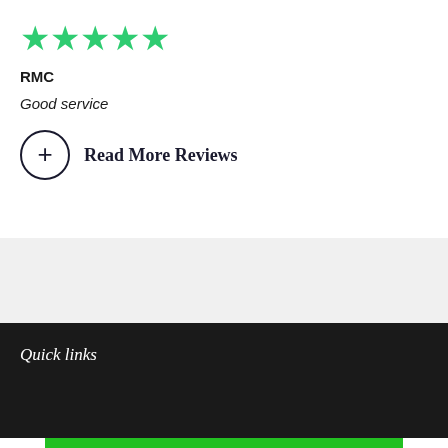[Figure (other): Five green star rating icons]
RMC
Good service
Read More Reviews
Quick links
$49.97 - ADD TO SHOPPING BAG